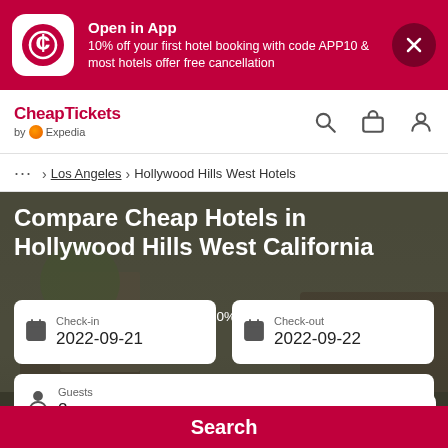[Figure (screenshot): App promotional banner with CheapTickets logo, open in app text, and close button]
[Figure (logo): CheapTickets by Expedia navigation bar with search, trips, and account icons]
... > Los Angeles > Hollywood Hills West Hotels
Compare Cheap Hotels in Hollywood Hills West California
Secret Bargains - Save an extra 10% or more on select hotels
Check-in
2022-09-21
Check-out
2022-09-22
Guests
2
Search